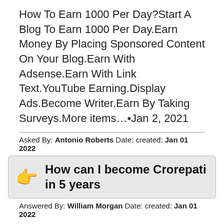How To Earn 1000 Per Day?Start A Blog To Earn 1000 Per Day.Earn Money By Placing Sponsored Content On Your Blog.Earn With Adsense.Earn With Link Text.YouTube Earning.Display Ads.Become Writer.Earn By Taking Surveys.More items…•Jan 2, 2021
Asked By: Antonio Roberts Date: created: Jan 01 2022
How can I become Crorepati in 5 years
Answered By: William Morgan Date: created: Jan 01 2022
wise tips while you are planning to save income tax.Invest in PPF. … Invest in ELSS Tax Saving Mutual funds. … Invest in NPS which can give additional